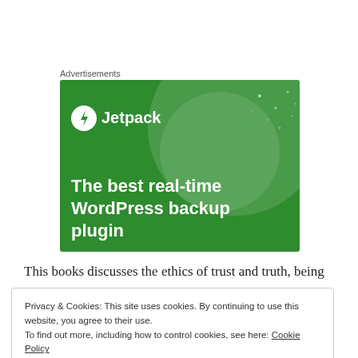Advertisements
[Figure (screenshot): Jetpack advertisement banner on green background showing a lightning bolt logo, the text 'Jetpack', and 'The best real-time WordPress backup plugin' with decorative circular shapes]
This books discusses the ethics of trust and truth, being
Privacy & Cookies: This site uses cookies. By continuing to use this website, you agree to their use.
To find out more, including how to control cookies, see here: Cookie Policy
Close and accept